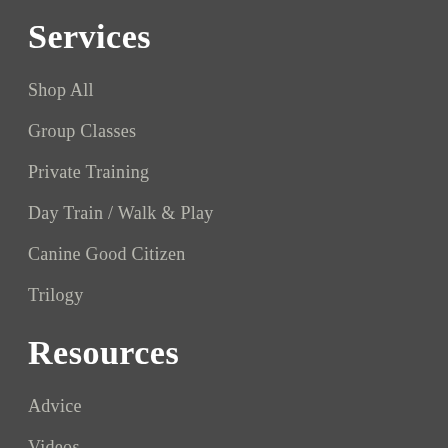Services
Shop All
Group Classes
Private Training
Day Train / Walk & Play
Canine Good Citizen
Trilogy
Resources
Advice
Videos